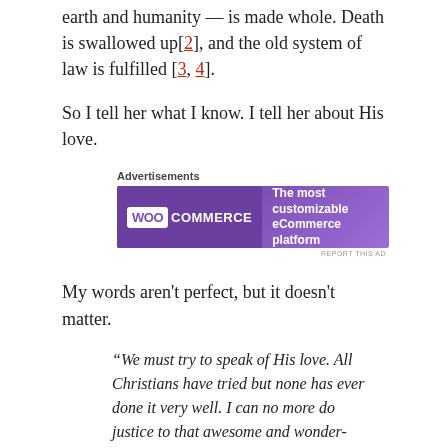earth and humanity — is made whole. Death is swallowed up[2], and the old system of law is fulfilled [3, 4].
So I tell her what I know. I tell her about His love.
[Figure (other): WooCommerce advertisement banner: purple gradient background with WooCommerce logo on left and text 'The most customizable eCommerce platform' on right.]
My words aren't perfect, but it doesn't matter.
“We must try to speak of His love. All Christians have tried but none has ever done it very well. I can no more do justice to that awesome and wonder-filled theme than a child can grasp a star. Still by reaching toward the star the child may call attention to it and even indicate the direction one must look to see it. So as I stretch my heart toward the high shining love of God someone who has not